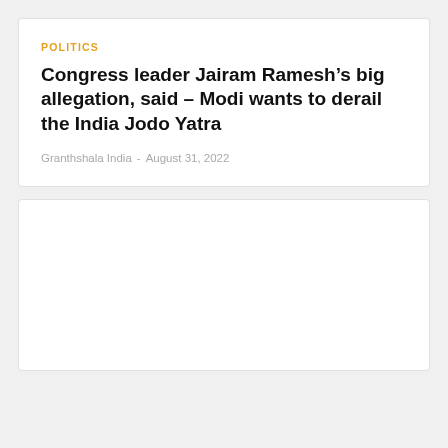POLITICS
Congress leader Jairam Ramesh’s big allegation, said – Modi wants to derail the India Jodo Yatra
Granthshala India  -  August 31, 2022
[Figure (other): Empty white image placeholder box]